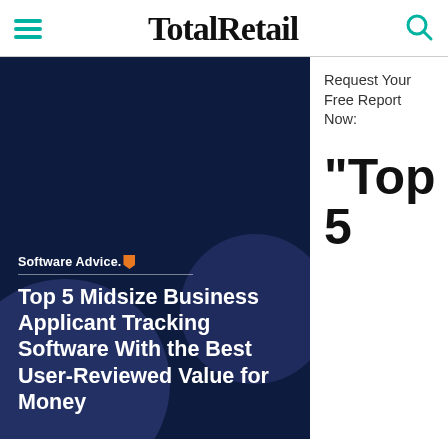TotalRetail
[Figure (screenshot): Dark navy blue card image from Software Advice showing report cover titled 'Top 5 Midsize Business Applicant Tracking Software With the Best User-Reviewed Value for Money' with Software Advice logo and decorative blobs]
Request Your Free Report Now:
"Top 5